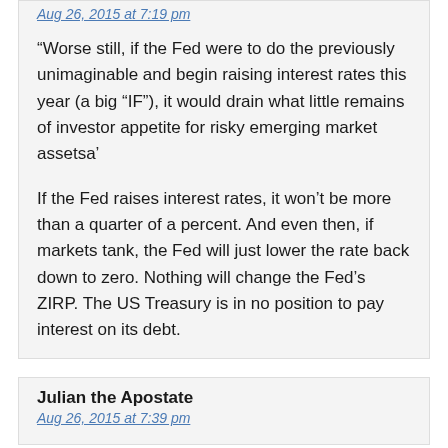Aug 26, 2015 at 7:19 pm
“Worse still, if the Fed were to do the previously unimaginable and begin raising interest rates this year (a big “IF”), it would drain what little remains of investor appetite for risky emerging market assetsa’
If the Fed raises interest rates, it won’t be more than a quarter of a percent. And even then, if markets tank, the Fed will just lower the rate back down to zero. Nothing will change the Fed’s ZIRP. The US Treasury is in no position to pay interest on its debt.
Julian the Apostate
Aug 26, 2015 at 7:39 pm